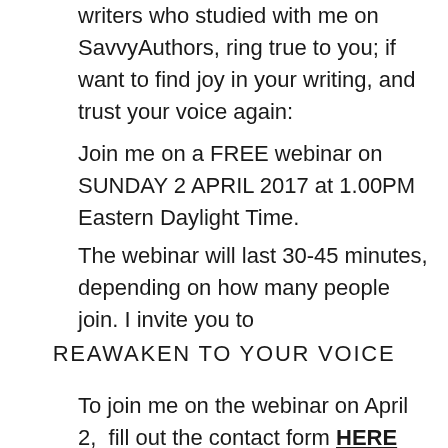writers who studied with me on SavvyAuthors, ring true to you; if want to find joy in your writing, and trust your voice again:
Join me on a FREE webinar on SUNDAY 2 APRIL 2017 at 1.00PM Eastern Daylight Time.
The webinar will last 30-45 minutes, depending on how many people join. I invite you to
REAWAKEN TO YOUR VOICE
To join me on the webinar on April 2,  fill out the contact form HERE  and your place will be confirmed. (If you can't attend you'll receive a copy of the recording.)
A constant focus on craft will make your work feel as if your voice is no longer present in your writing, and